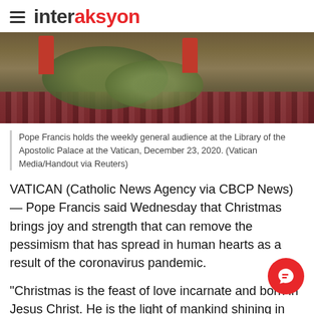interaksyon
[Figure (photo): A Christmas wreath with red candles on a decorative rug, blurred background]
Pope Francis holds the weekly general audience at the Library of the Apostolic Palace at the Vatican, December 23, 2020. (Vatican Media/Handout via Reuters)
VATICAN (Catholic News Agency via CBCP News) — Pope Francis said Wednesday that Christmas brings joy and strength that can remove the pessimism that has spread in human hearts as a result of the coronavirus pandemic.
"Christmas is the feast of love incarnate and born in Jesus Christ. He is the light of mankind shining in darkness, giving meaning to human existence and to the whole of history," Pope Francis said Dec. 23.